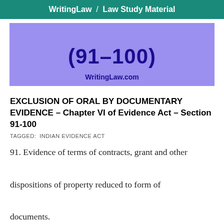WritingLaw / Law Study Material
[Figure (other): Purple banner with bold dark blue text '(91-100)' and 'WritingLaw.com' below]
EXCLUSION OF ORAL BY DOCUMENTARY EVIDENCE – Chapter VI of Evidence Act – Section 91-100
TAGGED:  INDIAN EVIDENCE ACT
91. Evidence of terms of contracts, grant and other dispositions of property reduced to form of documents.
When the terms of a contract, or of a grant, or of any other disposition of property have been